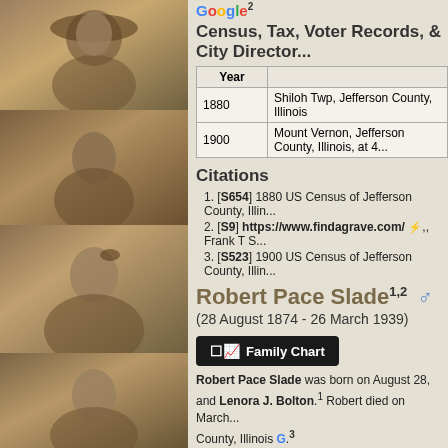[Figure (photo): Sepia portrait photos of historical individuals arranged vertically on left side]
Census, Tax, Voter Records, & City Director...
| Year |  |
| --- | --- |
| 1880 | Shiloh Twp, Jefferson County, Illinois |
| 1900 | Mount Vernon, Jefferson County, Illinois, at 4... |
Citations
[S654] 1880 US Census of Jefferson County, Illi...
[S9] https://www.findagrave.com/ Frank T S...
[S523] 1900 US Census of Jefferson County, Illin...
Robert Pace Slade1,2 ♂
(28 August 1874 - 26 March 1939)
Family Chart
Robert Pace Slade was born on August 28, ... and Lenora J. Bolton.1 Robert died on March ... County, Illinois G.3
Census, Tax, Voter Records, & City Director...